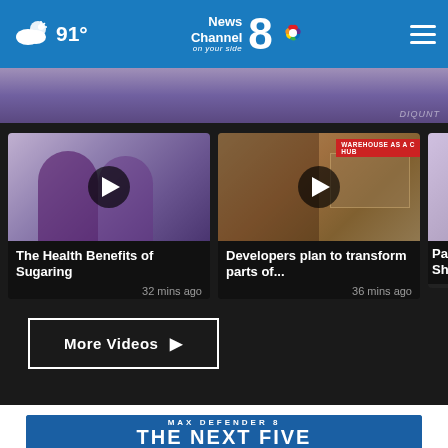91° News Channel 8 on your side
[Figure (photo): Hero image strip showing person in purple top, partially cropped]
[Figure (screenshot): Video thumbnail: The Health Benefits of Sugaring, showing two women]
The Health Benefits of Sugaring
32 mins ago
[Figure (screenshot): Video thumbnail: Developers plan to transform parts of... showing warehouse building]
Developers plan to transform parts of...
36 mins ago
[Figure (screenshot): Video thumbnail: Paren Shows... partially visible]
More Videos ▶
[Figure (screenshot): MAX DEFENDER 8 weather forecast banner: THE NEXT FIVE, 1PM STRAY SHOWER 90°]